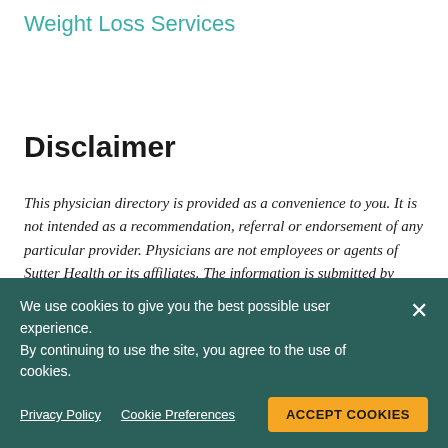Weight Loss Services
Disclaimer
This physician directory is provided as a convenience to you. It is not intended as a recommendation, referral or endorsement of any particular provider. Physicians are not employees or agents of Sutter Health or its affiliates. The information is submitted by each doctor and we make no guarantee or warranty as to the accuracy of the information. Sutter Health is not responsible for any loss
We use cookies to give you the best possible user experience. By continuing to use the site, you agree to the use of cookies.
Privacy Policy   Cookie Preferences   ACCEPT COOKIES